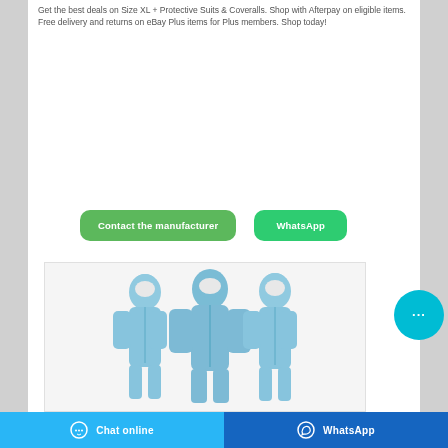Get the best deals on Size XL + Protective Suits & Coveralls. Shop with Afterpay on eligible items. Free delivery and returns on eBay Plus items for Plus members. Shop today!
[Figure (illustration): Two green buttons side by side: 'Contact the manufacturer' and 'WhatsApp']
[Figure (photo): Three people wearing blue protective coverall suits with hoods and face masks, standing side by side]
[Figure (illustration): Circular cyan chat bubble icon with three dots (...)]
[Figure (infographic): Bottom bar with two buttons: 'Chat online' in light blue on left and 'WhatsApp' in dark blue on right]